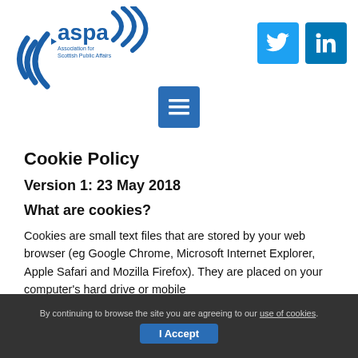[Figure (logo): ASPA - Association for Scottish Public Affairs logo with blue wave/signal graphic]
[Figure (infographic): Twitter and LinkedIn social media icon buttons in blue squares]
[Figure (infographic): Hamburger/menu icon button in blue square]
Cookie Policy
Version 1: 23 May 2018
What are cookies?
Cookies are small text files that are stored by your web browser (eg Google Chrome, Microsoft Internet Explorer, Apple Safari and Mozilla Firefox). They are placed on your computer's hard drive or mobile
By continuing to browse the site you are agreeing to our use of cookies.
I Accept